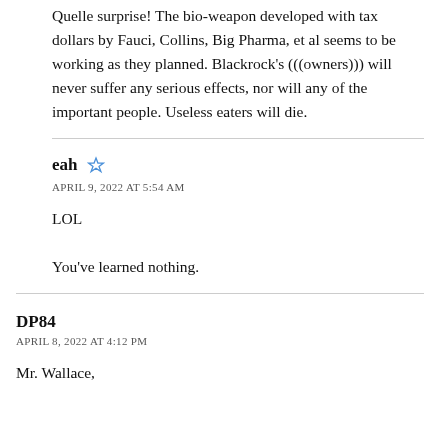Quelle surprise! The bio-weapon developed with tax dollars by Fauci, Collins, Big Pharma, et al seems to be working as they planned. Blackrock's (((owners))) will never suffer any serious effects, nor will any of the important people. Useless eaters will die.
eah  APRIL 9, 2022 AT 5:54 AM
LOL

You've learned nothing.
DP84  APRIL 8, 2022 AT 4:12 PM
Mr. Wallace,